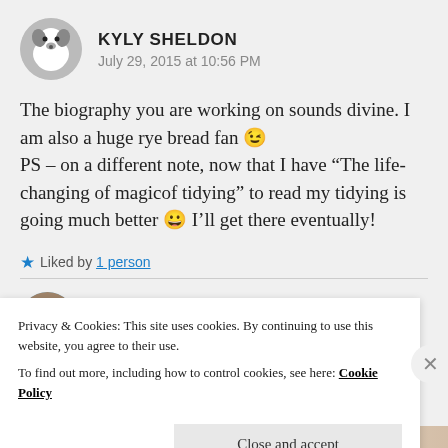[Figure (illustration): Circular avatar with a cartoon dog illustration in black and white/gray tones]
KYLY SHELDON
July 29, 2015 at 10:56 PM
The biography you are working on sounds divine. I am also a huge rye bread fan 😉
PS – on a different note, now that I have “The life-changing of magicof tidying” to read my tidying is going much better 😀 I’ll get there eventually!
★ Liked by 1 person
[Figure (photo): Circular avatar photo of a person (Anitazolins)]
ANITAZOLINS
Privacy & Cookies: This site uses cookies. By continuing to use this website, you agree to their use.
To find out more, including how to control cookies, see here: Cookie Policy
Close and accept